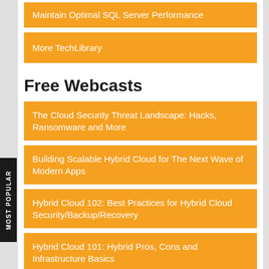Maintain Optimal SQL Server Performance
More TechLibrary
Free Webcasts
The Cloud Security Threat Landscape: Hacks, Ransomware and More
Building Scalable Hybrid Cloud for The Next Wave of Modern Apps
Hybrid Cloud 102: Best Practices for Hybrid Cloud Security/Backup/Recovery
Hybrid Cloud 101: Hybrid Pros, Cons and Infrastructure Basics
More Webcasts